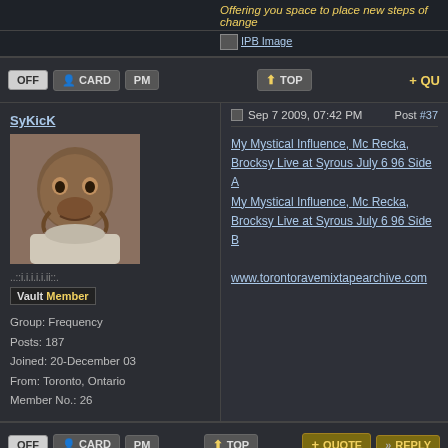Offering you space to place new steps of change
[Figure (other): IPB Image placeholder icon]
OFF | CARD | PM | TOP | QU[OTE]
SyKicK
Sep 7 2009, 07:42 PM   Post #37
[Figure (photo): Avatar image of Admiral Ackbar from Star Wars]
..::i.i.i.i.i.ii::..
Vault Member
Group: Frequency
Posts: 187
Joined: 20-December 03
From: Toronto, Ontario
Member No.: 26
My Mystical Influence, Mc Recka, Brocksy Live at Syrous July 6 96 Side A
My Mystical Influence, Mc Recka, Brocksy Live at Syrous July 6 96 Side B

www.torontoravemixtapearchive.com
OFF | CARD | PM | TOP | QUOTE | REPLY
SyKicK
Sep 17 2009, 03:17 PM   Post #38
Mystical Influence, Mc Recka, Brocksy Live at Syrous...